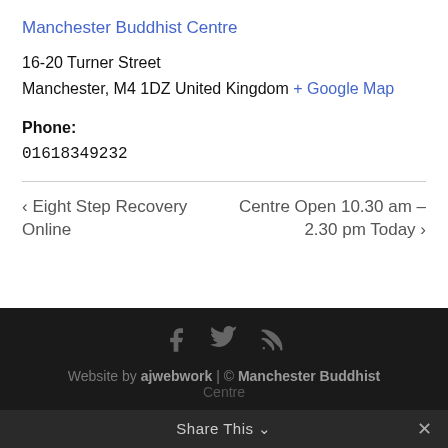Manchester Buddhist Centre
16-20 Turner Street
Manchester, M4 1DZ United Kingdom + Google Map
Phone:
01618349232
< Eight Step Recovery Online
Centre Open 10.30 am – 2.30 pm Today >
Website by ajwebwork | © Manchester Buddhist Centre
Share This